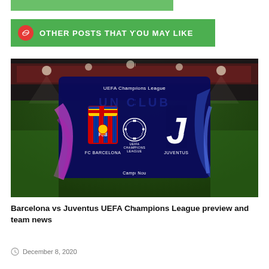[Figure (other): Green decorative bar at top of page]
OTHER POSTS THAT YOU MAY LIKE
[Figure (photo): UEFA Champions League match graphic showing FC Barcelona vs Juventus at Camp Nou, with team logos and Champions League branding on a dark blue background with stadium backdrop]
Barcelona vs Juventus UEFA Champions League preview and team news
December 8, 2020